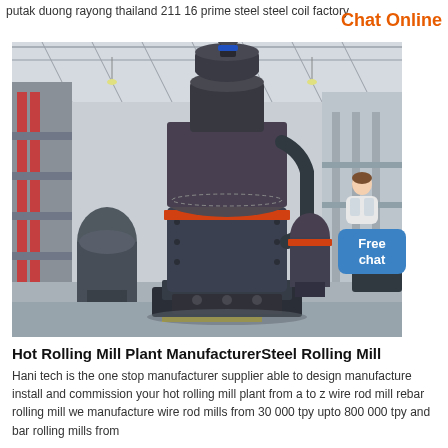putak duong rayong thailand 211 16 prime steel steel coil factory
Chat Online
[Figure (photo): Large industrial rolling mill machine inside a factory hall with high ceiling, steel framework, and warehouse-style interior. The main equipment is a tall dark-grey vertical mill with a cylindrical top vessel, orange-banded drum, and base structure. Additional smaller mill units visible in background. A wheeled excavator visible at far right.]
Free chat
Hot Rolling Mill Plant ManufacturerSteel Rolling Mill
Hani tech is the one stop manufacturer supplier able to design manufacture install and commission your hot rolling mill plant from a to z wire rod mill rebar rolling mill we manufacture wire rod mills from 30 000 tpy upto 800 000 tpy and bar rolling mills from